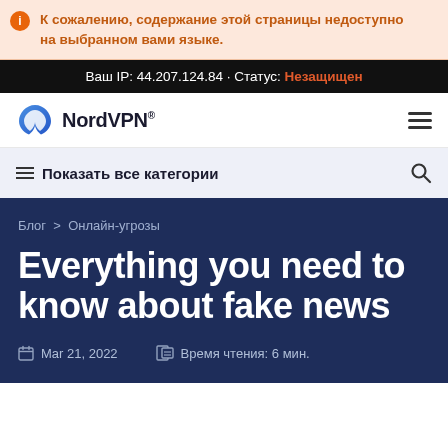К сожалению, содержание этой страницы недоступно на выбранном вами языке.
Ваш IP: 44.207.124.84 · Статус: Незащищен
[Figure (logo): NordVPN logo with mountain/arch icon and bold text 'NordVPN']
Показать все категории
Блог > Онлайн-угрозы
Everything you need to know about fake news
Mar 21, 2022
Время чтения: 6 мин.